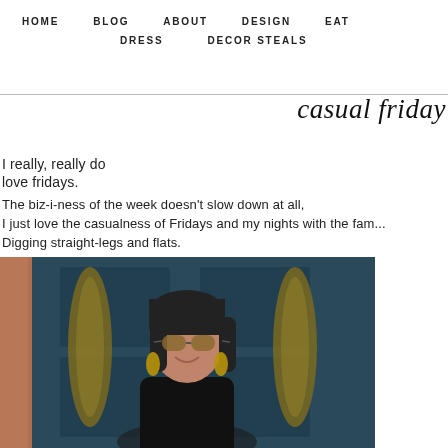HOME   BLOG   ABOUT   DESIGN   EAT
DRESS   DECOR STEALS
casual friday
I really, really do
love fridays.
The biz-i-ness of the week doesn't slow down at all,
I just love the casualness of Fridays and my nights with the fam...
Digging straight-legs and flats.
[Figure (photo): Woman with dark hair and bangs, wearing sunglasses and earrings, smiling in front of a blue door with decorative greenery/wreaths on either side, brick wall visible on left]